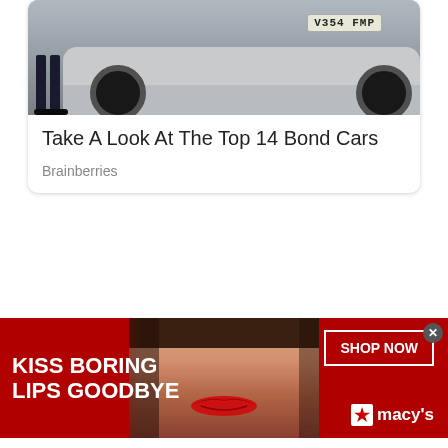[Figure (photo): Photo of a silver car (Aston Martin style) with license plate V354 FMP, person standing beside it visible from waist down]
Take A Look At The Top 14 Bond Cars
Brainberries
[Figure (photo): Advertisement banner: red background with woman's face showing red lips, text KISS BORING LIPS GOODBYE, SHOP NOW button, and Macy's logo with star]